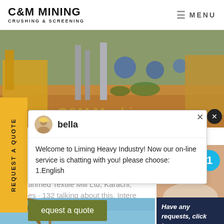C&M MINING CRUSHING & SCREENING | MENU
[Figure (photo): Mining site with heavy equipment, conveyor belts, and industrial machinery in an outdoor dirt environment. Partially visible text 'C&M Machi...' overlaid in gold.]
REQUEST A QUOTE
[Figure (screenshot): Live chat popup with avatar of 'bella' and message: Welcome to Liming Heavy Industry! Now our on-line service is chatting with you! please choose: 1.English]
ahmed Textile Mill Ltd, Karachi,
es · 132 talking about this. Intere
equest a quote
[Figure (photo): Customer service agent (woman with headset, smiling) with a blue circular badge showing '1']
Have any requests, click here.
Quotation
[Figure (photo): Bottom strip showing partial image of construction/mining crane equipment against a light blue sky]